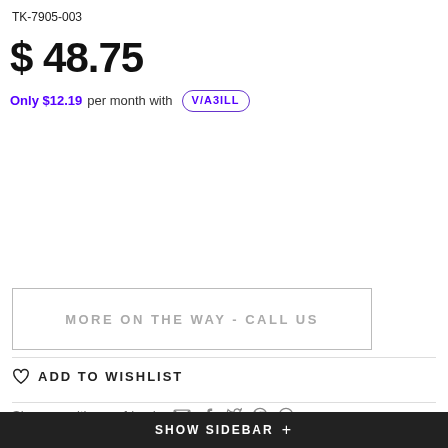TK-7905-003
$ 48.75
Only $12.19 per month with VIABILL
MORE ON THE WAY - CALL US
♡ ADD TO WISHLIST
Share us with your friends
SHOW SIDEBAR +